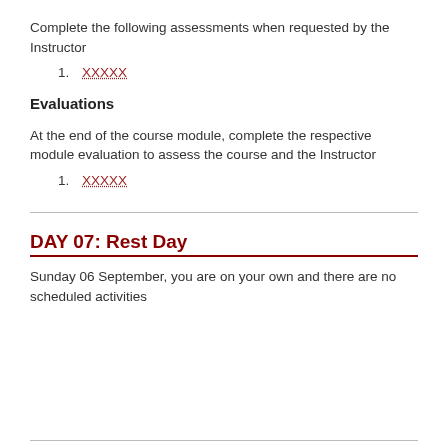Complete the following assessments when requested by the Instructor
1. XXXXX
Evaluations
At the end of the course module, complete the respective module evaluation to assess the course and the Instructor
1. XXXXX
DAY 07: Rest Day
Sunday 06 September, you are on your own and there are no scheduled activities